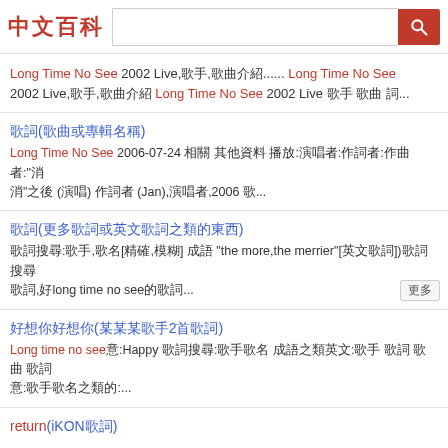中文百科 [search bar with search button]
Long Time No See 2002 Live,歌手,歌曲介紹...... Long Time No See 2002 Live,歌手,歌曲介紹 Long Time No See 2002 Live 歌手 歌曲 詞...
歌詞(歌曲或專輯名稱) - Long Time No See 2006-07-24 相關 其他資料 播放:演唱者:作詞者:作曲者:"消 消"之後 (演唱) 作詞者 (Jan),演唱者,2006 歌...
歌詞(更多歌詞或英文歌詞之類的東西) - 歌詞搜尋:歌手,歌名[精確,模糊] 成語 "the more,the merrier"[英文歌詞]) 歌詞搜尋 歌詞,好long time no see的歌詞...
好想你好想你(某某某歌手2首歌詞) - Long time no see意:Happy 歌詞搜尋:歌手歌名 成語之類英文:歌手 歌詞 歌曲 歌詞:歌手歌名之類的:...
return(iKON歌詞)